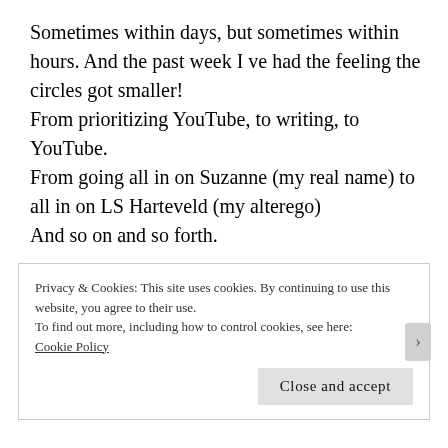Sometimes within days, but sometimes within hours. And the past week I ve had the feeling the circles got smaller!
From prioritizing YouTube, to writing, to YouTube.
From going all in on Suzanne (my real name) to all in on LS Harteveld (my alterego)
And so on and so forth.

Which is why this time, today, as the vision revealed itself so clearly that just like that ONE photo with the
Privacy & Cookies: This site uses cookies. By continuing to use this website, you agree to their use.
To find out more, including how to control cookies, see here:
Cookie Policy
Close and accept